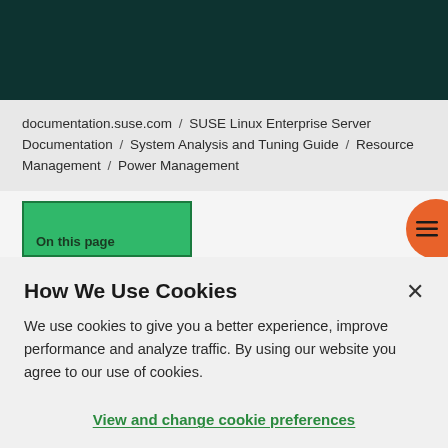[Figure (screenshot): Dark green header bar at top of SUSE documentation website]
documentation.suse.com / SUSE Linux Enterprise Server Documentation / System Analysis and Tuning Guide / Resource Management / Power Management
[Figure (screenshot): Green tab button labeled 'On this page' and an orange circular hamburger menu button]
How We Use Cookies
We use cookies to give you a better experience, improve performance and analyze traffic. By using our website you agree to our use of cookies.
View and change cookie preferences